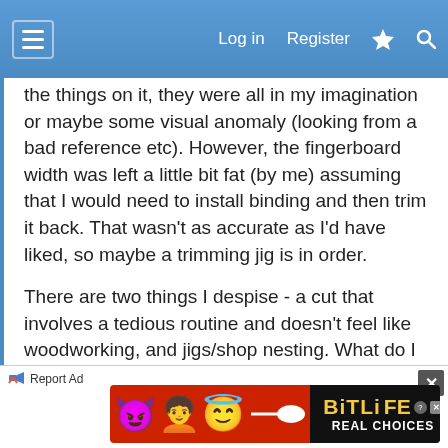Log in  Register
the things on it, they were all in my imagination or maybe some visual anomaly (looking from a bad reference etc). However, the fingerboard width was left a little bit fat (by me) assuming that I would need to install binding and then trim it back. That wasn't as accurate as I'd have liked, so maybe a trimming jig is in order.
There are two things I despise - a cut that involves a tedious routine and doesn't feel like woodworking, and jigs/shop nesting. What do I mean by that? The point of jigs can end up getting to removing you from the equation and sometimes to the detriment of speed and skill building. It's also a waste of time to build them if you don't like doing it, so my jigs tend to be the most
[Figure (screenshot): BitLife advertisement banner with emoji characters on red background and 'REAL CHOICES' text on dark background]